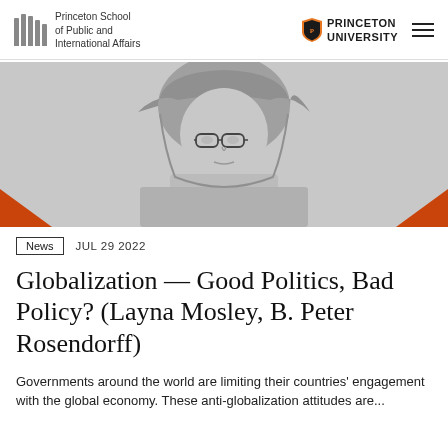Princeton School of Public and International Affairs | Princeton University
[Figure (photo): Black and white portrait photo of a woman wearing a headscarf and glasses, with orange decorative triangles in bottom corners]
News   JUL 29 2022
Globalization — Good Politics, Bad Policy? (Layna Mosley, B. Peter Rosendorff)
Governments around the world are limiting their countries' engagement with the global economy. These anti-globalization attitudes are...